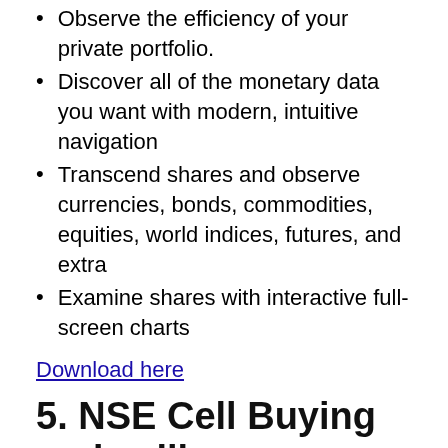Observe the efficiency of your private portfolio.
Discover all of the monetary data you want with modern, intuitive navigation
Transcend shares and observe currencies, bonds, commodities, equities, world indices, futures, and extra
Examine shares with interactive full-screen charts
Download here
5. NSE Cell Buying and selling
Play retailer score: 3.4/5 Stars (14ok Critiques)